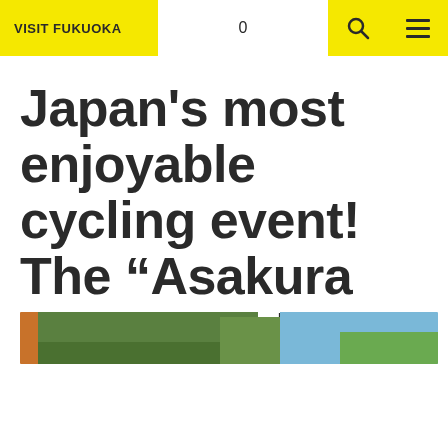VISIT FUKUOKA
Japan’s most enjoyable cycling event! The “Asakura Cycle Festival”
[Figure (photo): Partial view of trees and sky, photo strip at the bottom of the visible area]